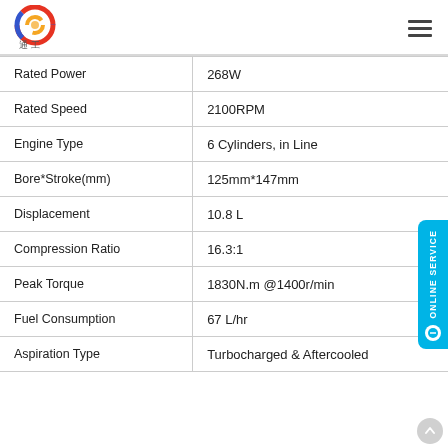[Figure (logo): Company logo with colorful circular swirl design and Chinese characters below, on white background]
| Parameter | Value |
| --- | --- |
| Rated Power | 268W |
| Rated Speed | 2100RPM |
| Engine Type | 6 Cylinders, in Line |
| Bore*Stroke(mm) | 125mm*147mm |
| Displacement | 10.8 L |
| Compression Ratio | 16.3:1 |
| Peak Torque | 1830N.m @1400r/min |
| Fuel Consumption | 67 L/hr |
| Aspiration Type | Turbocharged & Aftercooled |